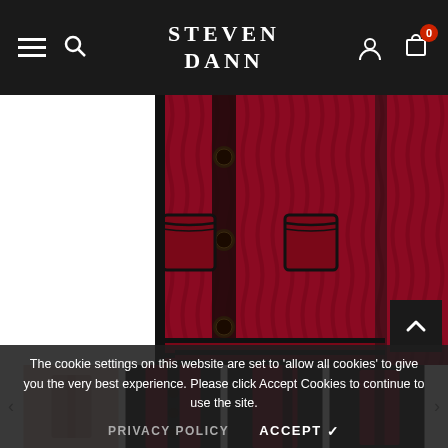Steven Dann — navigation bar with hamburger menu, search, brand logo, account icon, and cart (0)
[Figure (photo): Close-up of a dark red/burgundy cable-knit cardigan with black trim on pockets and hem, and dark buttons down the front placket]
[Figure (photo): Four product thumbnail images of the cardigan: pink/blush view, dark front view, dark side view, dark angled view]
The cookie settings on this website are set to 'allow all cookies' to give you the very best experience. Please click Accept Cookies to continue to use the site.
PRIVACY POLICY   ACCEPT ✓